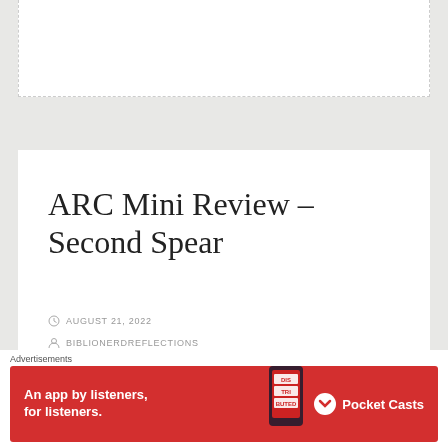ARC Mini Review – Second Spear
AUGUST 21, 2022
BIBLIONERDREFLECTIONS
2 COMMENTS
Advertisements
[Figure (other): Pocket Casts advertisement banner: red background with text 'An app by listeners, for listeners.' and Pocket Casts logo on the right, phone image in the center-right.]